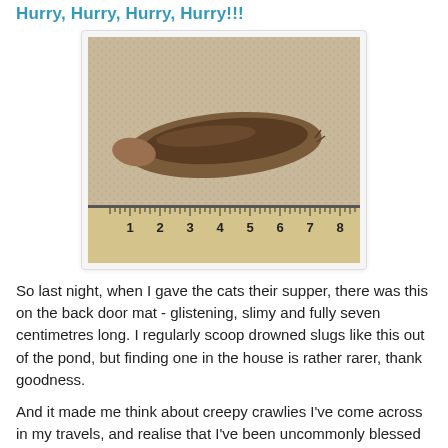Hurry, Hurry, Hurry, Hurry!
[Figure (photo): A large brown slug approximately 7 centimetres long, photographed on a carpet next to a ruler showing measurements from 1 to 8 centimetres.]
So last night, when I gave the cats their supper, there was this on the back door mat - glistening, slimy and fully seven centimetres long. I regularly scoop drowned slugs like this out of the pond, but finding one in the house is rather rarer, thank goodness.
And it made me think about creepy crawlies I've come across in my travels, and realise that I've been uncommonly blessed because, despite both venturing up the Amazon and spending a lot of time in that Harrods of deadly insects, Australia, I've had very few incidents of the multi- (or in this